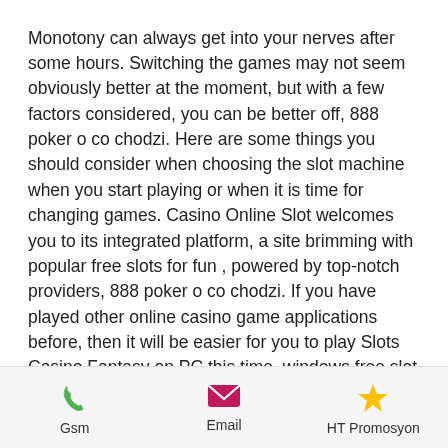Monotony can always get into your nerves after some hours. Switching the games may not seem obviously better at the moment, but with a few factors considered, you can be better off, 888 poker o co chodzi. Here are some things you should consider when choosing the slot machine when you start playing or when it is time for changing games. Casino Online Slot welcomes you to its integrated platform, a site brimming with popular free slots for fun , powered by top-notch providers, 888 poker o co chodzi. If you have played other online casino game applications before, then it will be easier for you to play Slots Casino Fantasy on PC this time, windows free slot games for fun.  4gb memory upgrade for the acer aspire one d270 (ok, 3gb working so far. ) the measly
Gsm  Email  HT Promosyon